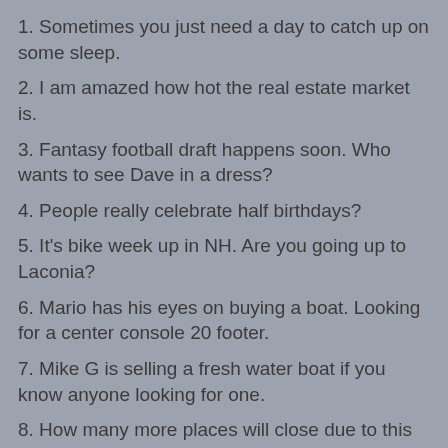1. Sometimes you just need a day to catch up on some sleep.
2. I am amazed how hot the real estate market is.
3. Fantasy football draft happens soon. Who wants to see Dave in a dress?
4. People really celebrate half birthdays?
5. It's bike week up in NH. Are you going up to Laconia?
6. Mario has his eyes on buying a boat. Looking for a center console 20 footer.
7. Mike G is selling a fresh water boat if you know anyone looking for one.
8. How many more places will close due to this Covid 19?
9. Speaking of covid 19, starting today we have to be tested once a week for it.
10. I heard teachers in Weymouth pushed for remote…